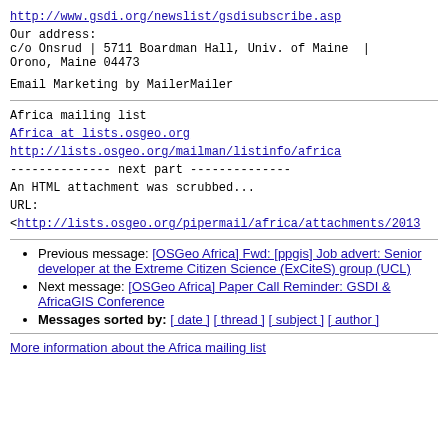http://www.gsdi.org/newslist/gsdisubscribe.asp
Our address:
c/o Onsrud | 5711 Boardman Hall, Univ. of Maine | Orono, Maine 04473
Email Marketing by MailerMailer
Africa mailing list
Africa at lists.osgeo.org
http://lists.osgeo.org/mailman/listinfo/africa
-------------- next part --------------
An HTML attachment was scrubbed...
URL:
<http://lists.osgeo.org/pipermail/africa/attachments/2013
Previous message: [OSGeo Africa] Fwd: [ppgis] Job advert: Senior developer at the Extreme Citizen Science (ExCiteS) group (UCL)
Next message: [OSGeo Africa] Paper Call Reminder: GSDI & AfricaGIS Conference
Messages sorted by: [ date ] [ thread ] [ subject ] [ author ]
More information about the Africa mailing list